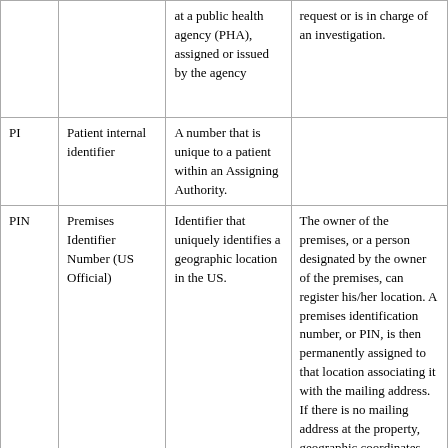|  |  |  |  |
| --- | --- | --- | --- |
|  |  | at a public health agency (PHA), assigned or issued by the agency | request or is in charge of an investigation. |
| PI | Patient internal identifier | A number that is unique to a patient within an Assigning Authority. |  |
| PIN | Premises Identifier Number (US Official) | Identifier that uniquely identifies a geographic location in the US. | The owner of the premises, or a person designated by the owner of the premises, can register his/her location. A premises identification number, or PIN, is then permanently assigned to that location associating it with the mailing address. If there is no mailing address at the property, geographic coordinates—latitude and longitude—can be used instead to describe the location. A premises identification number (PIN) is |